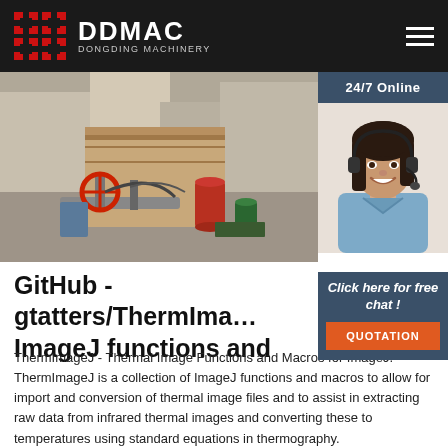DDMAC DONGDING MACHINERY
[Figure (photo): Industrial site photo showing machinery, pipes with red valve wheel, gas cylinders, and concrete structures on a work site]
[Figure (photo): 24/7 Online support - smiling woman with headset wearing blue shirt]
GitHub - gtatters/ThermIma... ImageJ functions and
ThermImageJ - Thermal Image Functions and Macros for ImageJ. ThermImageJ is a collection of ImageJ functions and macros to allow for import and conversion of thermal image files and to assist in extracting raw data from infrared thermal images and converting these to temperatures using standard equations in thermography.